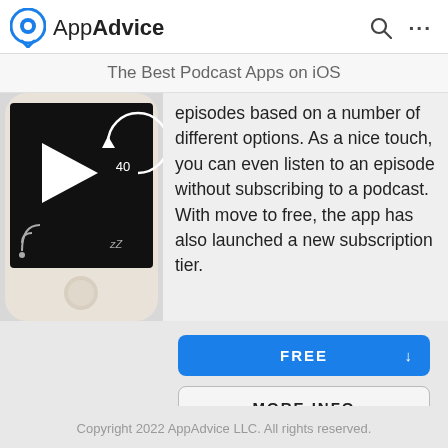AppAdvice
The Best Podcast Apps on iOS
[Figure (screenshot): iPhone showing a podcast player screen with play button, skip 40 seconds control, sleep timer (zZ), and cast icon on a black background.]
episodes based on a number of different options. As a nice touch, you can even listen to an episode without subscribing to a podcast. With move to free, the app has also launched a new subscription tier.
FREE
MORE INFO
Copyright 2022 AppAdvice LLC. All rights reserved.